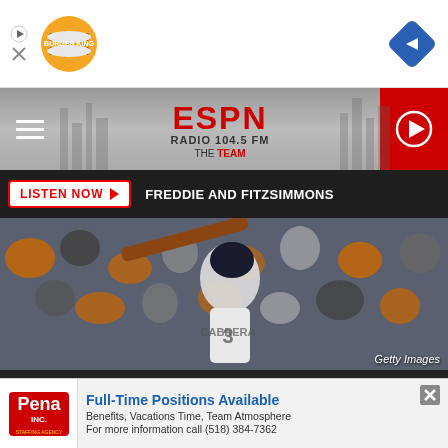[Figure (screenshot): Burger King advertisement banner at top with logo and navigation arrow]
[Figure (logo): ESPN Radio 104.5 FM The Team logo in header bar]
LISTEN NOW ▶   FREDDIE AND FITZSIMMONS
[Figure (photo): Baseball player in Detroit Tigers uniform swinging a bat, crowd in background. Getty Images credit.]
Getty Images
[Figure (screenshot): Pena Inc. advertisement: Full-Time Positions Available, Benefits, Vacations Time, Team Atmosphere, For more information call (518) 384-7362]